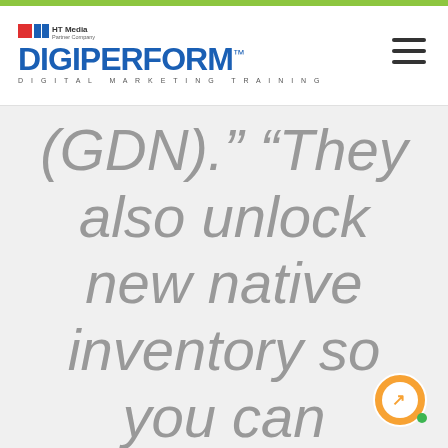[Figure (logo): DigiPerform logo with HT Media Partner Company branding and DIGITAL MARKETING TRAINING tagline]
(GDN)." “They also unlock new native inventory so you can
[Figure (other): Orange circular chat/support icon with arrow and green dot]